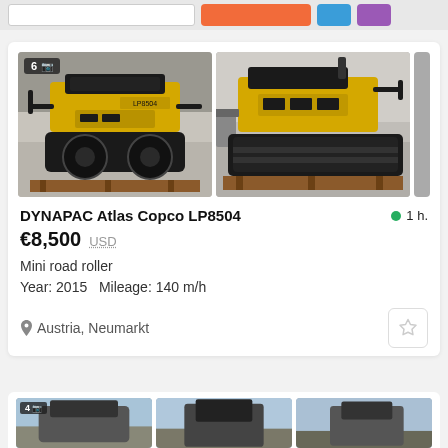[Figure (photo): Screenshot of a marketplace listing page showing top navigation bar with search box and colored buttons, and a product listing for DYNAPAC Atlas Copco LP8504 mini road roller]
[Figure (photo): Left product photo: DYNAPAC Atlas Copco LP8504 mini road roller, yellow and black, front-left view on wooden pallet in a warehouse/yard. Badge shows 6 photos.]
[Figure (photo): Right product photo: DYNAPAC Atlas Copco LP8504 mini road roller, yellow and black, rear-right view on wooden pallet outdoors.]
DYNAPAC Atlas Copco LP8504
1 h.
€8,500  USD
Mini road roller
Year: 2015   Mileage: 140 m/h
Austria, Neumarkt
[Figure (photo): Bottom listing thumbnails: three small preview images of other equipment listings (construction machines with sky backgrounds). First badge shows 4 photos.]